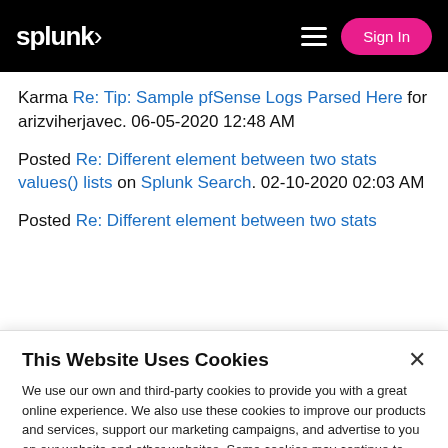splunk> Sign In
Karma Re: Tip: Sample pfSense Logs Parsed Here for arizviherjavec. 06-05-2020 12:48 AM
Posted Re: Different element between two stats values() lists on Splunk Search. 02-10-2020 02:03 AM
Posted Re: Different element between two stats
This Website Uses Cookies
We use our own and third-party cookies to provide you with a great online experience. We also use these cookies to improve our products and services, support our marketing campaigns, and advertise to you on our website and other websites. Some cookies may continue to collect information after you have left our website. Learn more here ›
Accept Cookies  Cookies Settings ›